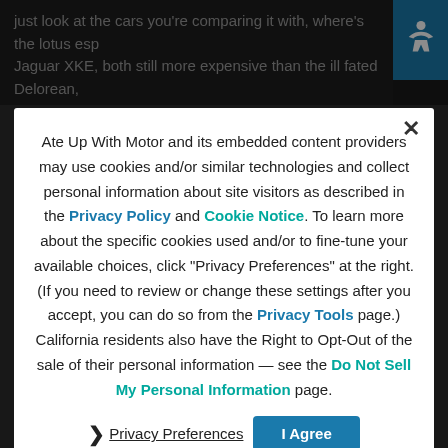just look at the cars you're comparing it with, where's the lotus esp Jaguar XKE, both still more expensive than the ill fated Delorean,
comparing it to a Bugatti, you could have bought all 7500 Deloreans for about the p...
Aaron Severson...  4:20 pm
The article makes the comparison with the Corvette, the Porsche 911SC, and the Lotus Esprit. The 911SC was a little more expensive than the DeLorean, the Esprit a lot more expensive. The Jaguar E-Type... but the XJ-S (which was roughly $5,000 more than the DMC-12) is not an unreasonable comparison... was not pitched as a sports car, of course, although it was faster than the DeLorean, and...
Ate Up With Motor and its embedded content providers may use cookies and/or similar technologies and collect personal information about site visitors as described in the Privacy Policy and Cookie Notice. To learn more about the specific cookies used and/or to fine-tune your available choices, click "Privacy Preferences" at the right. (If you need to review or change these settings after you accept, you can do so from the Privacy Tools page.) California residents also have the Right to Opt-Out of the sale of their personal information — see the Do Not Sell My Personal Information page.
Privacy Preferences
I Agree